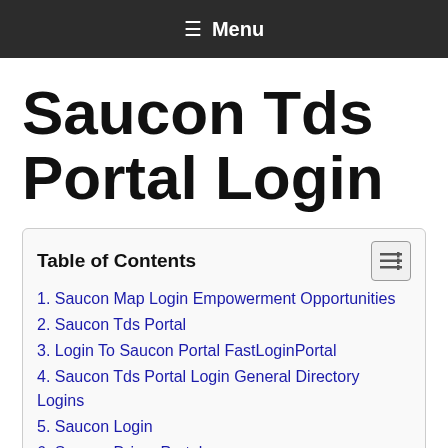☰ Menu
Saucon Tds Portal Login
Table of Contents
1. Saucon Map Login Empowerment Opportunities
2. Saucon Tds Portal
3. Login To Saucon Portal FastLoginPortal
4. Saucon Tds Portal Login General Directory Logins
5. Saucon Login
6. Saucon Driver Portal